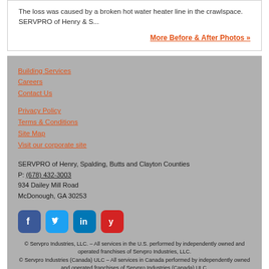The loss was caused by a broken hot water heater line in the crawlspace. SERVPRO of Henry & S...
More Before & After Photos »
Building Services
Careers
Contact Us
Privacy Policy
Terms & Conditions
Site Map
Visit our corporate site
SERVPRO of Henry, Spalding, Butts and Clayton Counties
P: (678) 432-3003
934 Dailey Mill Road
McDonough, GA 30253
[Figure (other): Social media icons: Facebook, Twitter, LinkedIn, Yelp]
© Servpro Industries, LLC. – All services in the U.S. performed by independently owned and operated franchises of Servpro Industries, LLC.
© Servpro Industries (Canada) ULC – All services in Canada performed by independently owned and operated franchises of Servpro Industries (Canada) ULC.